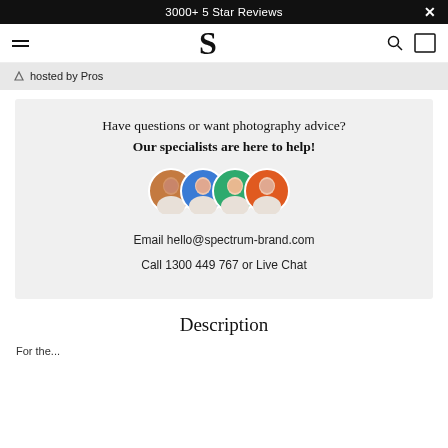3000+ 5 Star Reviews
hosted by Pros
Have questions or want photography advice?
Our specialists are here to help!
[Figure (photo): Four circular avatar photos of specialists overlapping slightly, on colored backgrounds: brown, blue, green, orange.]
Email hello@spectrum-brand.com
Call 1300 449 767 or Live Chat
Description
For the...